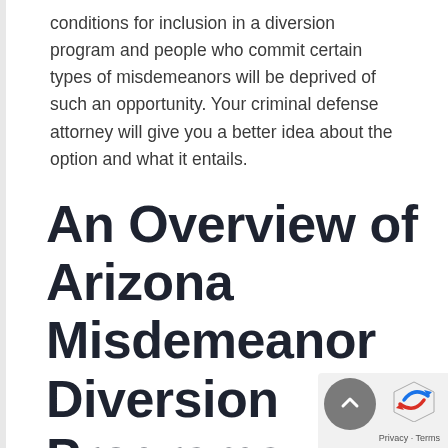conditions for inclusion in a diversion program and people who commit certain types of misdemeanors will be deprived of such an opportunity. Your criminal defense attorney will give you a better idea about the option and what it entails.
An Overview of Arizona Misdemeanor Diversion Programs